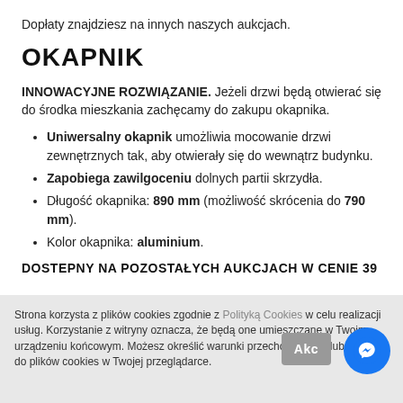Dopłaty znajdziesz na innych naszych aukcjach.
OKAPNIK
INNOWACYJNE ROZWIĄZANIE. Jeżeli drzwi będą otwierać się do środka mieszkania zachęcamy do zakupu okapnika.
Uniwersalny okapnik umożliwia mocowanie drzwi zewnętrznych tak, aby otwierały się do wewnątrz budynku.
Zapobiega zawilgoceniu dolnych partii skrzydła.
Długość okapnika: 890 mm (możliwość skrócenia do 790 mm).
Kolor okapnika: aluminium.
DOSTEPNY NA POZOSTAŁYCH AUKCJACH W CENIE 39
Strona korzysta z plików cookies zgodnie z Polityką Cookies w celu realizacji usług. Korzystanie z witryny oznacza, że będą one umieszczane w Twoim urządzeniu końcowym. Możesz określić warunki przechowywania lub dostępu do plików cookies w Twojej przeglądarce.